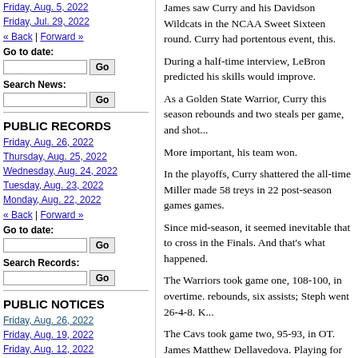Friday, Aug. 5, 2022
Friday, Jul. 29, 2022
« Back | Forward »
Go to date:
Search News:
PUBLIC RECORDS
Friday, Aug. 26, 2022
Thursday, Aug. 25, 2022
Wednesday, Aug. 24, 2022
Tuesday, Aug. 23, 2022
Monday, Aug. 22, 2022
« Back | Forward »
Go to date:
Search Records:
PUBLIC NOTICES
Friday, Aug. 26, 2022
Friday, Aug. 19, 2022
Friday, Aug. 12, 2022
Friday, Aug. 5, 2022
James saw Curry and his Davidson Wildcats in the NCAA Sweet Sixteen round. Curry had portentous event, this.
During a half-time interview, LeBron predicted his skills would improve.
As a Golden State Warrior, Curry this season rebounds and two steals per game, and shot...
More important, his team won.
In the playoffs, Curry shattered the all-time Miller made 58 treys in 22 post-season games games.
Since mid-season, it seemed inevitable that to cross in the Finals. And that's what happened.
The Warriors took game one, 108-100, in overtime. rebounds, six assists; Steph went 26-4-8. K...
The Cavs took game two, 95-93, in OT. James Matthew Dellavedova. Playing for injured long while, and Thompson's 34 points were...